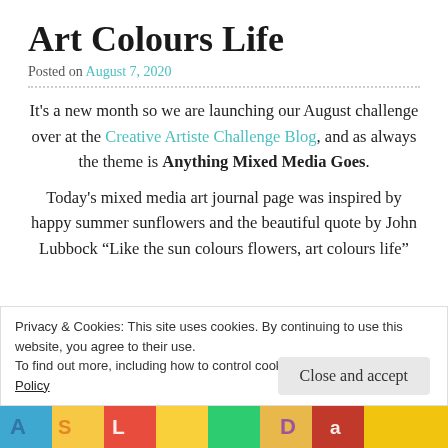Art Colours Life
Posted on August 7, 2020
It's a new month so we are launching our August challenge over at the Creative Artiste Challenge Blog, and as always the theme is Anything Mixed Media Goes.
Today's mixed media art journal page was inspired by happy summer sunflowers and the beautiful quote by John Lubbock “Like the sun colours flowers, art colours life”
Privacy & Cookies: This site uses cookies. By continuing to use this website, you agree to their use.
To find out more, including how to control cookies, see here: Cookie Policy
Close and accept
[Figure (photo): Colorful mixed media art journal image strip at the bottom of the page]